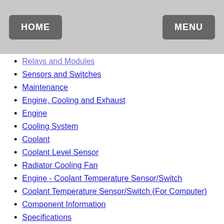HOME | MENU
Relays and Modules (partially visible)
Sensors and Switches
Maintenance
Engine, Cooling and Exhaust
Engine
Cooling System
Coolant
Coolant Level Sensor
Radiator Cooling Fan
Engine - Coolant Temperature Sensor/Switch
Coolant Temperature Sensor/Switch (For Computer)
Component Information
Specifications
Page 2347
Diagrams
Diagram Information and Instructions
Page 2350
Page 2351
Page 2352
Page 2353